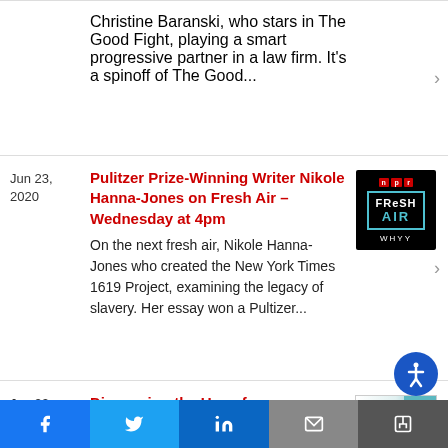Christine Baranski, who stars in The Good Fight, playing a smart progressive partner in a law firm. It's a spinoff of The Good...
Jun 23, 2020
Pulitzer Prize-Winning Writer Nikole Hanna-Jones on Fresh Air – Wednesday at 4pm
On the next fresh air, Nikole Hanna-Jones who created the New York Times 1619 Project, examining the legacy of slavery. Her essay won a Pultizer...
[Figure (logo): NPR Fresh Air WHYY podcast cover art — black background with NPR badge, 'FRESH AIR' in bordered box, WHYY label]
Jun 22, 2020
Discussing the Use of Hallucinogens to Treat Mental Health Issues on Fresh Air – Monday at 4pm
On the next Fresh Air, the use
[Figure (photo): Book cover image — Julie Ho, The Science of Connection, From Soul to Psychedelics, with teal spine]